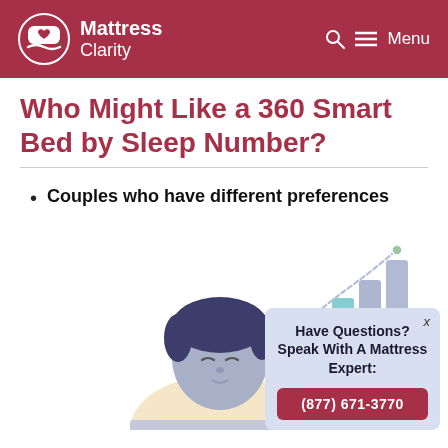Mattress Clarity
Who Might Like a 360 Smart Bed by Sleep Number?
Couples who have different preferences
[Figure (illustration): Illustration of a person with dark hair sitting at a laptop, with a bar/line chart graphic in the upper right background. Colors are soft purples, blues, and yellows.]
Have Questions? Speak With A Mattress Expert: (877) 671-3770